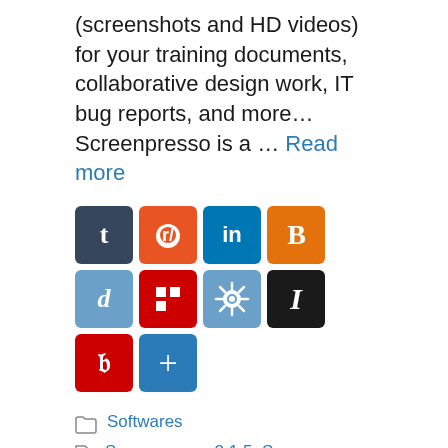(screenshots and HD videos) for your training documents, collaborative design work, IT bug reports, and more… Screenpresso is a … Read more
[Figure (infographic): Row of social sharing icon buttons: Tumblr (dark blue), Reddit (orange), LinkedIn (blue), Blogger (orange), Diigo (blue-gray), Flipboard (red), virus/share icon (blue-gray), Instapaper (black), Pinterest (red), and a blue plus/add button]
Softwares
Screenpresso 2.1.5, Screenpresso 2.1.5 Crack, Screenpresso Crack
Adobe DNG Converter 14.5